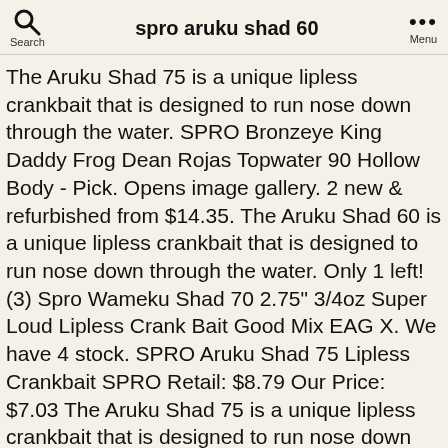spro aruku shad 60
The Aruku Shad 75 is a unique lipless crankbait that is designed to run nose down through the water. SPRO Bronzeye King Daddy Frog Dean Rojas Topwater 90 Hollow Body - Pick. Opens image gallery. 2 new & refurbished from $14.35. The Aruku Shad 60 is a unique lipless crankbait that is designed to run nose down through the water. Only 1 left! (3) Spro Wameku Shad 70 2.75" 3/4oz Super Loud Lipless Crank Bait Good Mix EAG X. We have 4 stock. SPRO Aruku Shad 75 Lipless Crankbait SPRO Retail: $8.79 Our Price: $7.03 The Aruku Shad 75 is a unique lipless crankbait that is designed to run nose down through the water. £8.35. Brand new: lowest price. Spro Aruku Shad Jr. Lipless Crankbait. The nose down action does two things, one allo... View … About this product. C $47.53; or Best Offer; Calculate Shipping ; From United States; Customs services and international tracking provided. $3.49 shipping. SPRO Russ Lane Fat Papa 55 Crankbait - Choice of Colors. Add all three to Cart Add all three to List. 5 new & refurbished